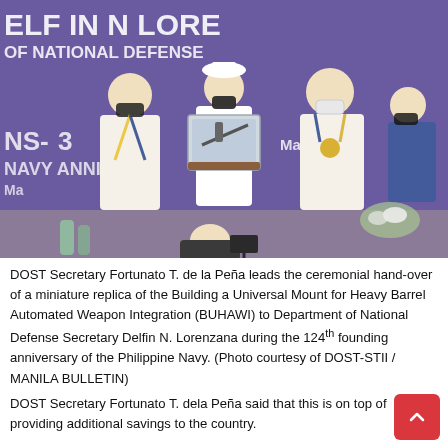[Figure (photo): DOST Secretary Fortunato T. de la Peña and Department of National Defense Secretary Delfin N. Lorenzana at a ceremony during the 124th founding anniversary of the Philippine Navy. A naval officer holds a miniature replica of the BUHAWI weapon system in a display case. A purple banner reading 'ELFIN N LOREN OF NATIONAL DEFENSE NAVY ANNIVERSARY' is visible in the background.]
DOST Secretary Fortunato T. de la Peña leads the ceremonial hand-over of a miniature replica of the Building a Universal Mount for Heavy Barrel Automated Weapon Integration (BUHAWI) to Department of National Defense Secretary Delfin N. Lorenzana during the 124th founding anniversary of the Philippine Navy. (Photo courtesy of DOST-STII / MANILA BULLETIN)
DOST Secretary Fortunato T. dela Peña said that this is on top of providing additional savings to the country.